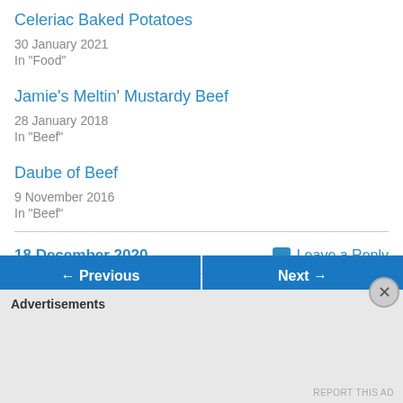Celeriac Baked Potatoes
30 January 2021
In "Food"
Jamie's Meltin' Mustardy Beef
28 January 2018
In "Beef"
Daube of Beef
9 November 2016
In "Beef"
18 December 2020
Leave a Reply
Advertisements
REPORT THIS AD